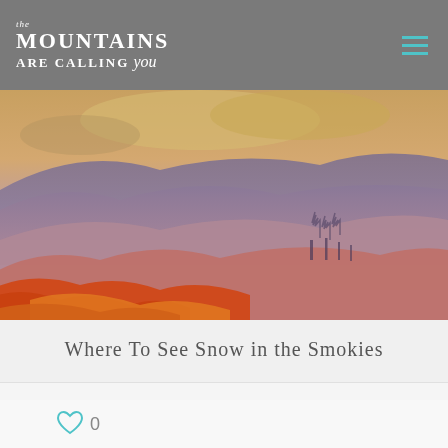The Mountains Are Calling You
[Figure (photo): Panoramic autumn mountain landscape in the Smokies with red, orange, and gold foliage in the foreground and layered purple-blue mountain ridges receding into a dramatic golden-clouded sky]
Where To See Snow in the Smokies
< >
0